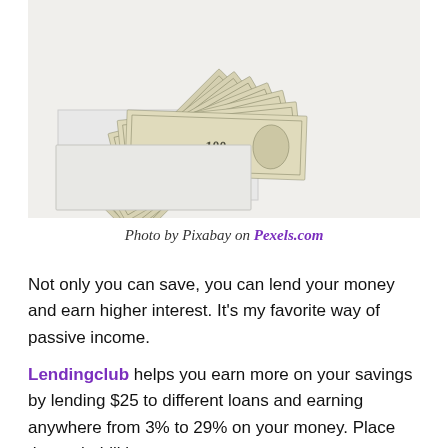[Figure (photo): Fan of US $100 dollar bills spread out on a white envelope, photographed from above on a white background.]
Photo by Pixabay on Pexels.com
Not only you can save, you can lend your money and earn higher interest. It's my favorite way of passive income.
Lendingclub helps you earn more on your savings by lending $25 to different loans and earning anywhere from 3% to 29% on your money. Place the probabilities